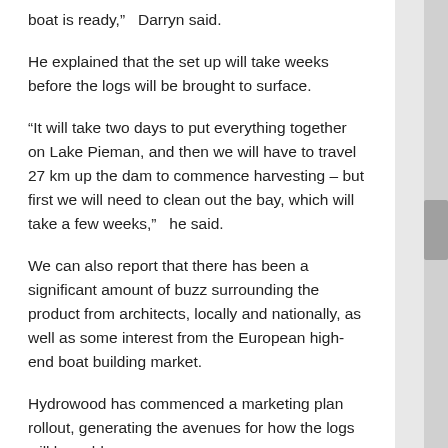boat is ready,”   Darryn said.
He explained that the set up will take weeks before the logs will be brought to surface.
“It will take two days to put everything together on Lake Pieman, and then we will have to travel 27 km up the dam to commence harvesting – but first we will need to clean out the bay, which will take a few weeks,”   he said.
We can also report that there has been a significant amount of buzz surrounding the product from architects, locally and nationally, as well as some interest from the European high-end boat building market.
Hydrowood has commenced a marketing plan rollout, generating the avenues for how the logs will be sold.